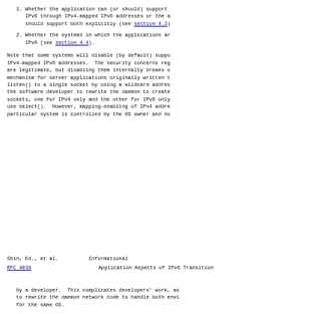1. Whether the application can (or should) support IPv6 through IPv4-mapped IPv6 addresses or the application should support both explicitly (see section 4.3).
2. Whether the systems in which the applications are running support IPv6 (see section 4.4).
Note that some systems will disable (by default) support for IPv4-mapped IPv6 addresses.  The security concerns regarding them are legitimate, but disabling them internally breaks the mechanism for server applications originally written to listen() to a single socket by using a wildcard address, forcing the software developer to rewrite the daemon to create two sockets, one for IPv4 only and the other for IPv6 only, and then use select().  However, mapping-enabling of IPv4 addresses on a particular system is controlled by the OS owner and not
Shin, Ed., et al.        Informational
RFC 4038         Application Aspects of IPv6 Transition
by a developer.  This complicates developers' work, as they have to rewrite the daemon network code to handle both environments for the same OS.